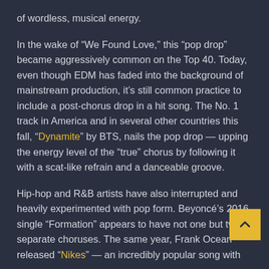of wordless, musical energy.
In the wake of “We Found Love,” this “pop drop” became aggressively common on the Top 40. Today, even though EDM has faded into the background of mainstream production, it’s still common practice to include a post-chorus drop in a hit song. The No. 1 track in America and in several other countries this fall, “Dynamite” by BTS, nails the pop drop — upping the energy level of the “true” chorus by following it with a scat-like refrain and a danceable groove.
Hip-hop and R&B artists have also interrupted and heavily experimented with pop form. Beyoncé’s 2016 single “Formation” appears to have not one but two separate choruses. The same year, Frank Ocean released “Nikes” — an incredibly popular song with